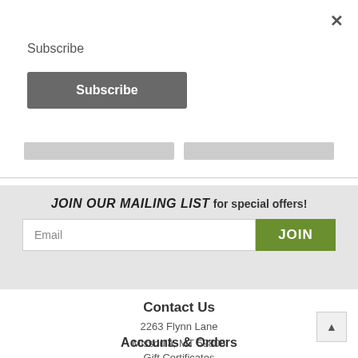×
Subscribe
Subscribe
JOIN OUR MAILING LIST for special offers!
Email
JOIN
Contact Us
2263 Flynn Lane
Missoula, MT 59808
Accounts & Orders
Gift Certificates